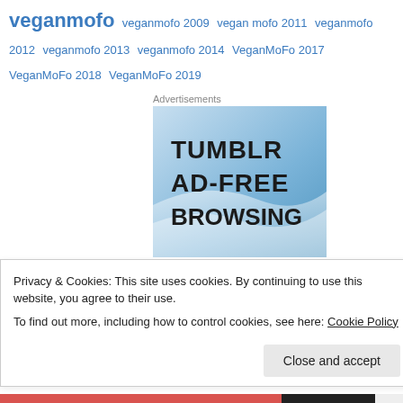veganmofo veganmofo 2009 vegan mofo 2011 veganmofo 2012 veganmofo 2013 veganmofo 2014 VeganMoFo 2017 VeganMoFo 2018 VeganMoFo 2019
Advertisements
[Figure (illustration): Tumblr Ad-Free Browsing advertisement banner with blue gradient background and bold black text reading 'TUMBLR AD-FREE BROWSING']
Privacy & Cookies: This site uses cookies. By continuing to use this website, you agree to their use.
To find out more, including how to control cookies, see here: Cookie Policy
Close and accept